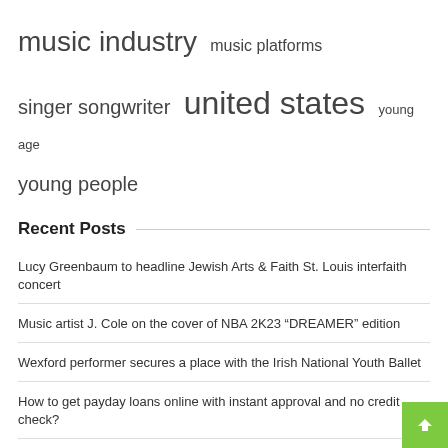music industry  music platforms
singer songwriter  united states  young age
young people
Recent Posts
Lucy Greenbaum to headline Jewish Arts & Faith St. Louis interfaith concert
Music artist J. Cole on the cover of NBA 2K23 “DREAMER” edition
Wexford performer secures a place with the Irish National Youth Ballet
How to get payday loans online with instant approval and no credit check?
MTV VMA 2022: Anitta makes history as Brazil’s first winner and performer